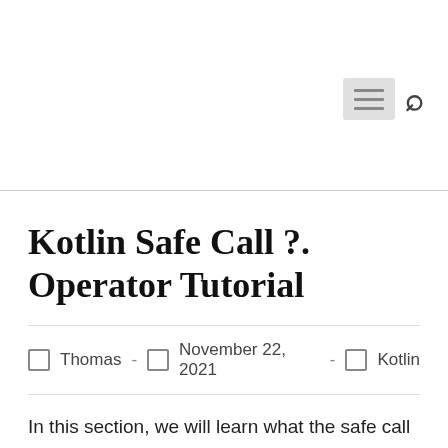Kotlin Safe Call ?. Operator Tutorial
Thomas - November 22, 2021 - Kotlin
In this section, we will learn what the safe call operator is and how to use it in Kotlin